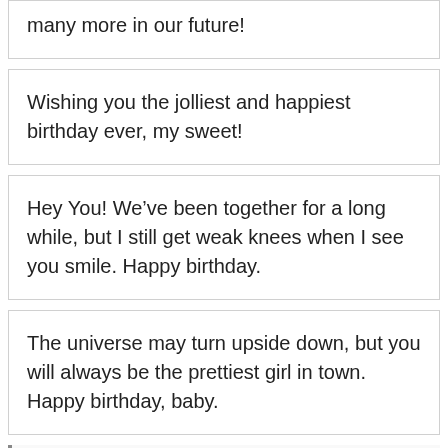many more in our future!
Wishing you the jolliest and happiest birthday ever, my sweet!
Hey You! We've been together for a long while, but I still get weak knees when I see you smile. Happy birthday.
The universe may turn upside down, but you will always be the prettiest girl in town. Happy birthday, baby.
Read More: 50+ Birthday Status For Girlfriend